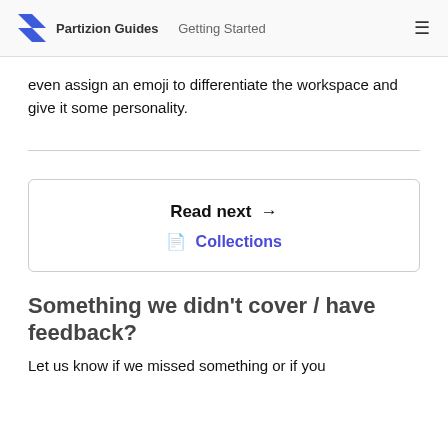Partizion Guides   Getting Started
even assign an emoji to differentiate the workspace and give it some personality.
Read next →
📄 Collections
Something we didn't cover / have feedback?
Let us know if we missed something or if you